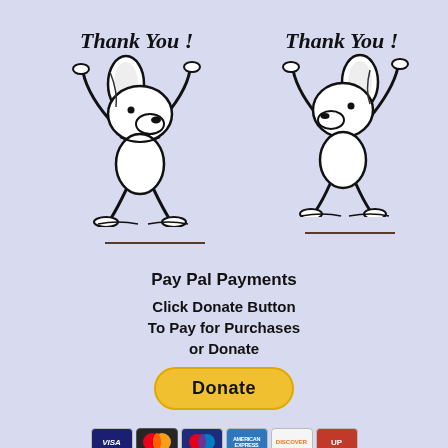Thank You !
Thank You !
[Figure (illustration): Snoopy dancing illustration, left side]
[Figure (illustration): Snoopy dancing illustration, right side]
Pay Pal Payments
Click Donate Button
To Pay for Purchases
or Donate
[Figure (illustration): Yellow PayPal Donate button]
[Figure (illustration): Payment card logos: Visa, Mastercard, Maestro, American Express, Discover, and one more]